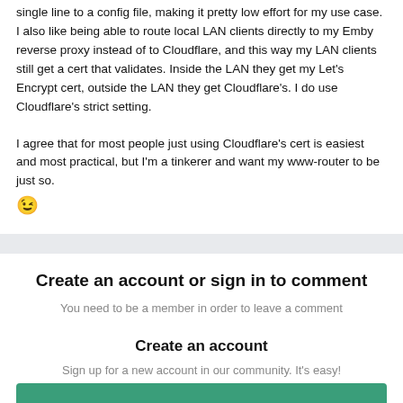single line to a config file, making it pretty low effort for my use case. I also like being able to route local LAN clients directly to my Emby reverse proxy instead of to Cloudflare, and this way my LAN clients still get a cert that validates. Inside the LAN they get my Let's Encrypt cert, outside the LAN they get Cloudflare's. I do use Cloudflare's strict setting.
I agree that for most people just using Cloudflare's cert is easiest and most practical, but I'm a tinkerer and want my www-router to be just so. 😉
Create an account or sign in to comment
You need to be a member in order to leave a comment
Create an account
Sign up for a new account in our community. It's easy!